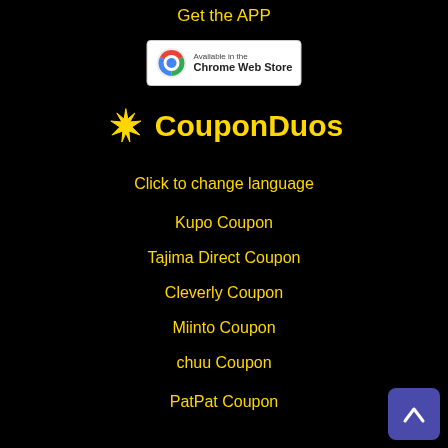Get the APP
[Figure (logo): Available in the Chrome Web Store badge]
[Figure (logo): CouponDuos logo with decorative star icon]
Click to change language
Kupo Coupon
Tajima Direct Coupon
Cleverly Coupon
Miinto Coupon
chuu Coupon
PatPat Coupon